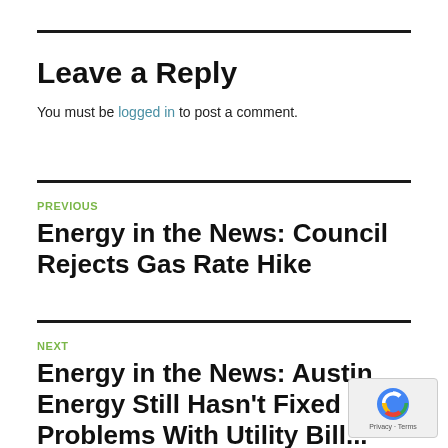Leave a Reply
You must be logged in to post a comment.
PREVIOUS
Energy in the News: Council Rejects Gas Rate Hike
NEXT
Energy in the News: Austin Energy Still Hasn't Fixed Problems With Utility Bill...